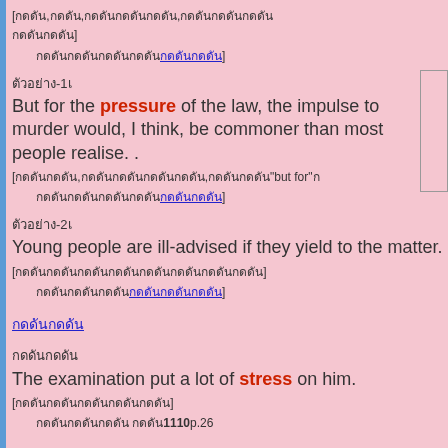[กดดัน,กดดัน,กดดันกดดันกดดัน,กดดันกดดันกดดัน กดดันกดดัน]
กดดันกดดันกดดันกดดัน กดดันกดดัน
ตัวอย่าง-1
But for the pressure of the law, the impulse to murder would, I think, be commoner than most people realise. .
[กดดันกดดัน,กดดันกดดันกดดันกดดัน,กดดันกดดัน "but for" กดดัน กดดันกดดันกดดันกดดัน กดดันกดดัน]
ตัวอย่าง-2
Young people are ill-advised if they yield to the matter.
[กดดันกดดันกดดันกดดันกดดันกดดันกดดันกดดัน]
กดดันกดดันกดดัน กดดันกดดันกดดัน
กดดันกดดัน
กดดันกดดัน The examination put a lot of stress on him. [กดดันกดดันกดดันกดดัน]
กดดันกดดันกดดัน 1110 p.26